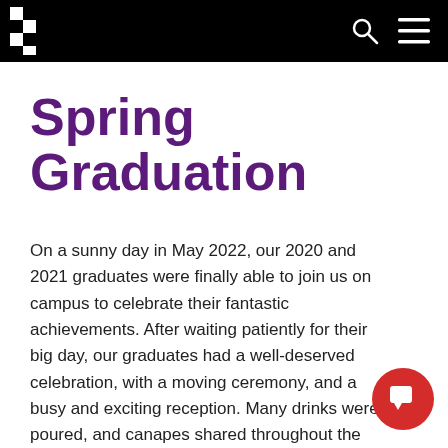Spring Graduation page header with university logo and navigation icons
Spring Graduation
On a sunny day in May 2022, our 2020 and 2021 graduates were finally able to join us on campus to celebrate their fantastic achievements. After waiting patiently for their big day, our graduates had a well-deserved celebration, with a moving ceremony, and a busy and exciting reception. Many drinks were poured, and canapes shared throughout the afternoon, as our students mingled with their course mates for the first time. It was touching to see our students enjoying themselves after